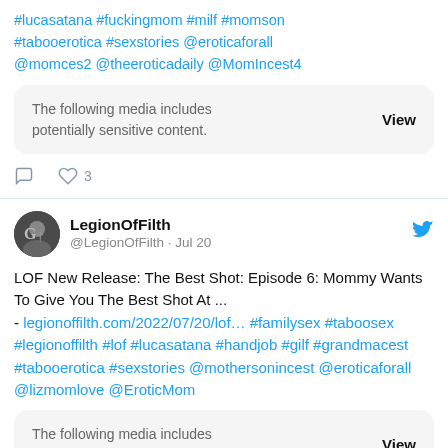#lucasatana #fuckingmom #milf #momson #tabooerotica #sexstories @eroticaforall @momces2 @theeroticadaily @MomIncest4
The following media includes potentially sensitive content. View
3
LegionOfFilth @LegionOfFilth · Jul 20
LOF New Release: The Best Shot: Episode 6: Mommy Wants To Give You The Best Shot At ... - legionoffilth.com/2022/07/20/lof… #familysex #taboosex #legionoffilth #lof #lucasatana #handjob #gilf #grandmacest #tabooerotica #sexstories @mothersonincest @eroticaforall @lizmomlove @EroticMom
The following media includes potentially sensitive content. View